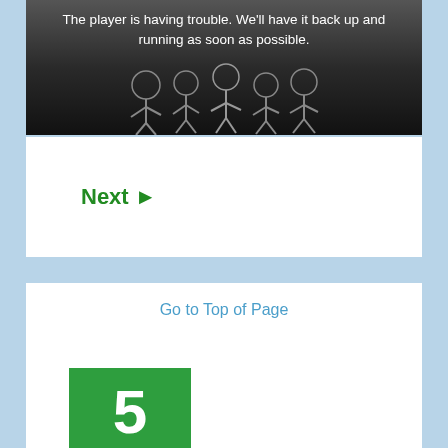[Figure (screenshot): Dark video player error screen with cartoon characters at bottom. Text reads: The player is having trouble. We'll have it back up and running as soon as possible.]
The player is having trouble. We'll have it back up and running as soon as possible.
Next ►
Go to Top of Page
[Figure (logo): Green square icon with white number 5]